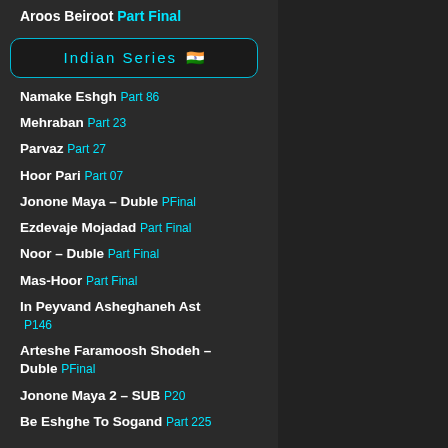Aroos Beiroot  Part Final
Indian Series 🇮🇳
Namake Eshgh  Part 86
Mehraban  Part 23
Parvaz  Part 27
Hoor Pari  Part 07
Jonone Maya – Duble  PFinal
Ezdevaje Mojadad  Part Final
Noor – Duble  Part Final
Mas-Hoor  Part Final
In Peyvand Asheghaneh Ast  P146
Arteshe Faramoosh Shodeh – Duble  PFinal
Jonone Maya 2 – SUB  P20
Be Eshghe To Sogand  Part 225